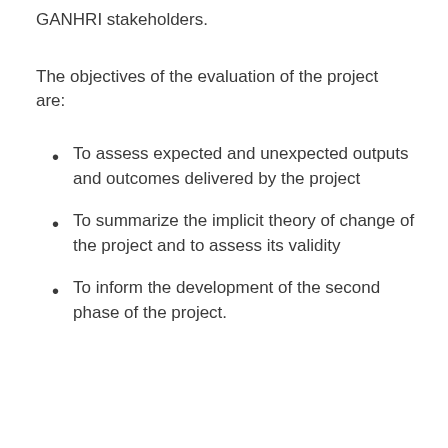GANHRI stakeholders.
The objectives of the evaluation of the project are:
To assess expected and unexpected outputs and outcomes delivered by the project
To summarize the implicit theory of change of the project and to assess its validity
To inform the development of the second phase of the project.